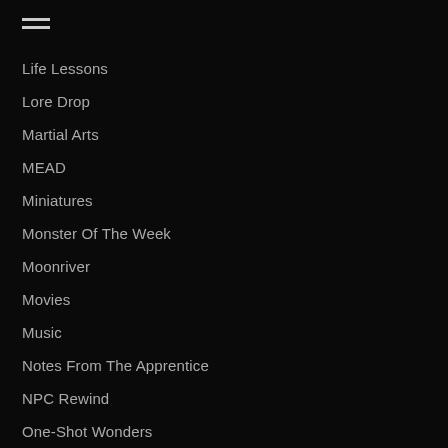Life Lessons
Lore Drop
Martial Arts
MEAD
Miniatures
Monster Of The Week
Moonriver
Movies
Music
Notes From The Apprentice
NPC Rewind
One-Shot Wonders
Pathfinder RPG
Player Tips
Shadowfell Campaign
Shows
Star Wars Saga Edition
The End Of The World RPG